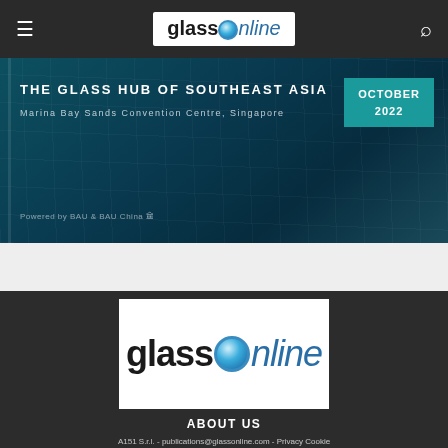glassOnline
[Figure (other): Banner advertisement for glass conference in Southeast Asia. Text: THE GLASS HUB OF SOUTHEAST ASIA, Marina Bay Sands Convention Centre, Singapore, OCTOBER 2022, Powered by BAU & BAU China]
[Figure (logo): glassOnline logo in white box on dark background]
ABOUT US
A151 S.r.l. - publications@glassonline.com - Privacy Cookie